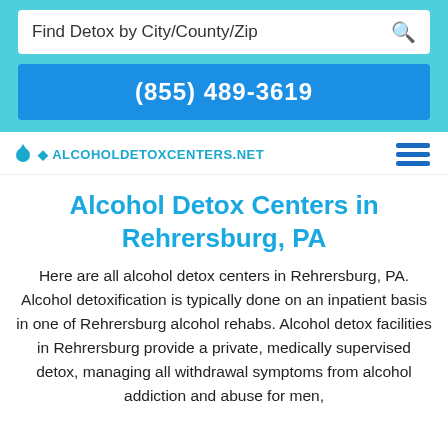Find Detox by City/County/Zip
(855) 489-3619
[Figure (logo): AlcoholDetoxCenters.net logo with water drop icon and hamburger menu icon]
Alcohol Detox Centers in Rehrersburg, PA
Here are all alcohol detox centers in Rehrersburg, PA. Alcohol detoxification is typically done on an inpatient basis in one of Rehrersburg alcohol rehabs. Alcohol detox facilities in Rehrersburg provide a private, medically supervised detox, managing all withdrawal symptoms from alcohol addiction and abuse for men,